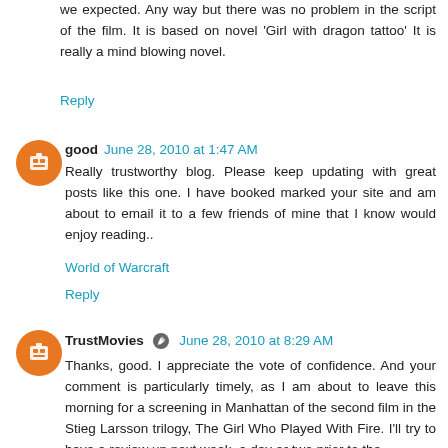we expected. Any way but there was no problem in the script of the film. It is based on novel 'Girl with dragon tattoo' It is really a mind blowing novel.
Reply
good   June 28, 2010 at 1:47 AM
Really trustworthy blog. Please keep updating with great posts like this one. I have booked marked your site and am about to email it to a few friends of mine that I know would enjoy reading..
World of Warcraft
Reply
TrustMovies   June 28, 2010 at 8:29 AM
Thanks, good. I appreciate the vote of confidence. And your comment is particularly timely, as I am about to leave this morning for a screening in Manhattan of the second film in the Stieg Larsson trilogy, The Girl Who Played With Fire. I'll try to have a review up next week, a day or two prior to the